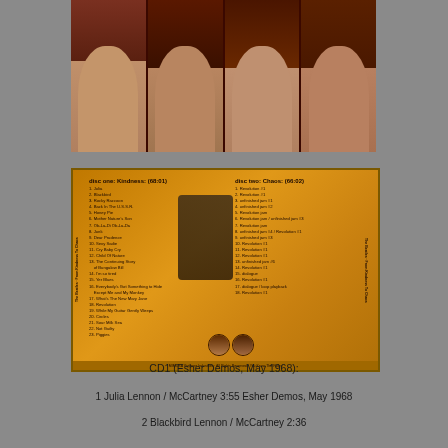[Figure (photo): Four Beatles faces cropped into vertical panels against a dark reddish-brown mosaic background]
[Figure (photo): CD back cover for The Beatles 'From Kindness To Chaos', orange/golden background with two disc tracklists. Disc One: Kindness (68:01), Disc Two: Chaos (66:02). Contains tracklisting and side text. Catalog number NT-143/134.]
CD1 (Esher Demos, May 1968):
1 Julia Lennon / McCartney 3:55 Esher Demos, May 1968
2 Blackbird Lennon / McCartney 2:36